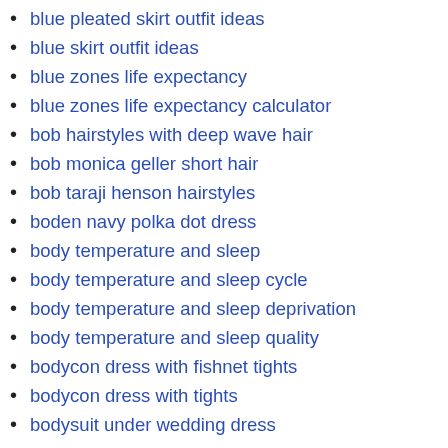blue pleated skirt outfit ideas
blue skirt outfit ideas
blue zones life expectancy
blue zones life expectancy calculator
bob hairstyles with deep wave hair
bob monica geller short hair
bob taraji henson hairstyles
boden navy polka dot dress
body temperature and sleep
body temperature and sleep cycle
body temperature and sleep deprivation
body temperature and sleep quality
bodycon dress with fishnet tights
bodycon dress with tights
bodysuit under wedding dress